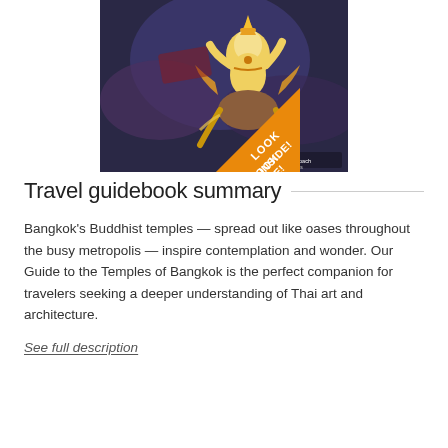[Figure (illustration): Book cover for 'Guide to the Temples of Bangkok' by Approach Guides, featuring a Thai mural painting with a deity figure in gold and white against a dark blue background. An orange banner in the lower-left corner reads 'LOOK INSIDE!' and the Approach Guides logo appears in the lower-right.]
Travel guidebook summary
Bangkok's Buddhist temples — spread out like oases throughout the busy metropolis — inspire contemplation and wonder. Our Guide to the Temples of Bangkok is the perfect companion for travelers seeking a deeper understanding of Thai art and architecture.
See full description